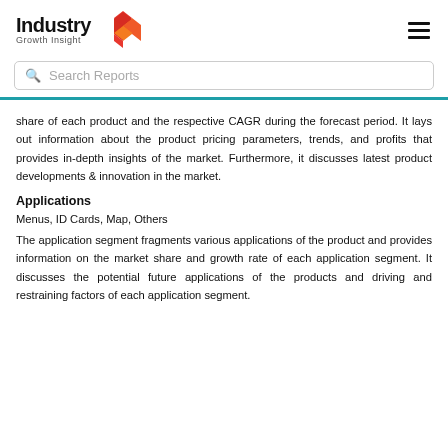Industry Growth Insight
share of each product and the respective CAGR during the forecast period. It lays out information about the product pricing parameters, trends, and profits that provides in-depth insights of the market. Furthermore, it discusses latest product developments & innovation in the market.
Applications
Menus, ID Cards, Map, Others
The application segment fragments various applications of the product and provides information on the market share and growth rate of each application segment. It discusses the potential future applications of the products and driving and restraining factors of each application segment.